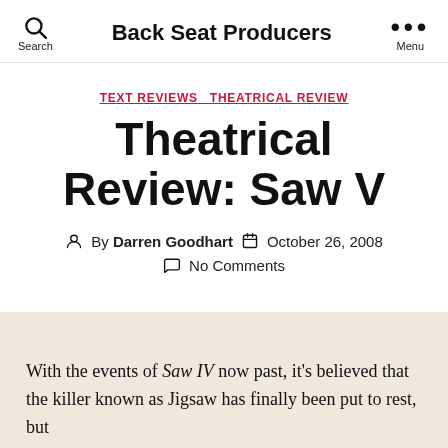Back Seat Producers
TEXT REVIEWS   THEATRICAL REVIEW
Theatrical Review: Saw V
By Darren Goodhart   October 26, 2008
No Comments
With the events of Saw IV now past, it's believed that the killer known as Jigsaw has finally been put to rest, but